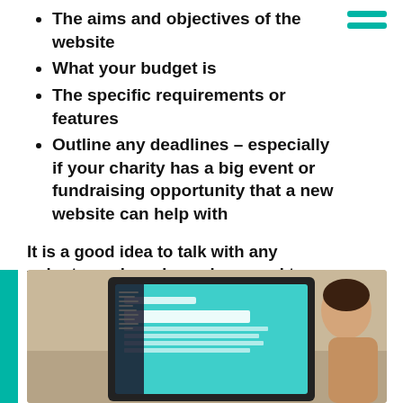The aims and objectives of the website
What your budget is
The specific requirements or features
Outline any deadlines – especially if your charity has a big event or fundraising opportunity that a new website can help with
It is a good idea to talk with any volunteers, board members, and team members before writing a brief as they might be able to provide insight and pain points that you may not have considered.
[Figure (photo): Person looking at a laptop screen displaying a website with a teal background and text 'Support East Africa's top polio kids hospital']